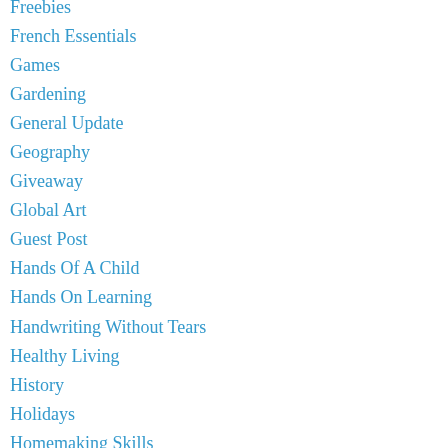Freebies
French Essentials
Games
Gardening
General Update
Geography
Giveaway
Global Art
Guest Post
Hands Of A Child
Hands On Learning
Handwriting Without Tears
Healthy Living
History
Holidays
Homemaking Skills
Homeschooling
Homeschooling A Singleton
Homeschooling Essentials
Homeschooling Helps